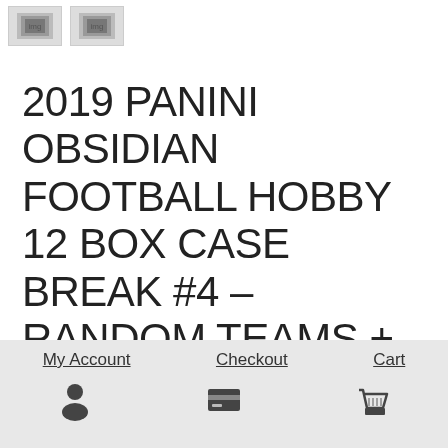[Figure (other): Two small product thumbnail images in top left corner]
2019 PANINI OBSIDIAN FOOTBALL HOBBY 12 BOX CASE BREAK #4 – RANDOM TEAMS + FREE SPOT DRAWING
My Account   Checkout   Cart